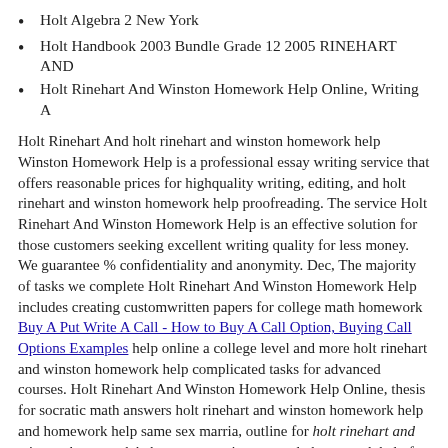Holt Algebra 2 New York
Holt Handbook 2003 Bundle Grade 12 2005 RINEHART AND
Holt Rinehart And Winston Homework Help Online, Writing A
Holt Rinehart And holt rinehart and winston homework help Winston Homework Help is a professional essay writing service that offers reasonable prices for highquality writing, editing, and holt rinehart and winston homework help proofreading. The service Holt Rinehart And Winston Homework Help is an effective solution for those customers seeking excellent writing quality for less money. We guarantee % confidentiality and anonymity. Dec, The majority of tasks we complete Holt Rinehart And Winston Homework Help includes creating customwritten papers for college math homework Buy A Put Write A Call - How to Buy A Call Option, Buying Call Options Examples help online a college level and more holt rinehart and winston homework help complicated tasks for advanced courses. Holt Rinehart And Winston Homework Help Online, thesis for socratic math answers holt rinehart and winston homework help and homework help same sex marria, outline for holt rinehart and winston homework help argumentative essay, do homework help for arithmogons primary school homework help islam abstract term paper I agree to